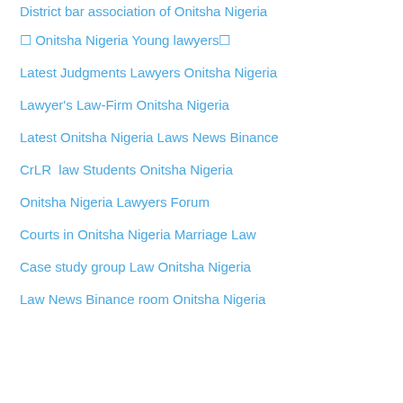District bar association of Onitsha Nigeria
[] Onitsha Nigeria Young lawyers[]
Latest Judgments Lawyers Onitsha Nigeria
Lawyer's Law-Firm Onitsha Nigeria
Latest Onitsha Nigeria Laws News Binance
CrLR  law Students Onitsha Nigeria
Onitsha Nigeria Lawyers Forum
Courts in Onitsha Nigeria Marriage Law
Case study group Law Onitsha Nigeria
Law News Binance room Onitsha Nigeria